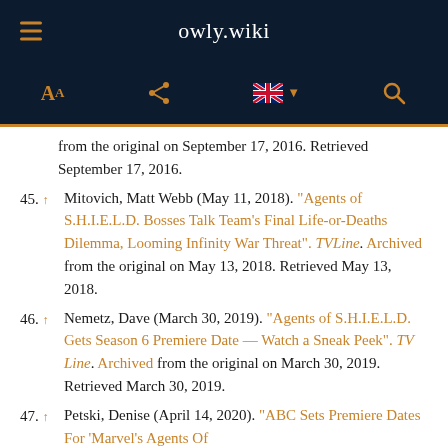owly.wiki
from the original on September 17, 2016. Retrieved September 17, 2016.
45. ^ Mitovich, Matt Webb (May 11, 2018). "Agents of S.H.I.E.L.D. Bosses Talk Team's Final Life-or-Deaths Dilemma, Looming Infinity War Threat". TVLine. Archived from the original on May 13, 2018. Retrieved May 13, 2018.
46. ^ Nemetz, Dave (March 30, 2019). "Agents of S.H.I.E.L.D. Gets Season 6 Premiere Date — Watch a Sneak Peek". TV Line. Archived from the original on March 30, 2019. Retrieved March 30, 2019.
47. ^ Petski, Denise (April 14, 2020). "ABC Sets Premiere Dates For 'Marvel's Agents Of